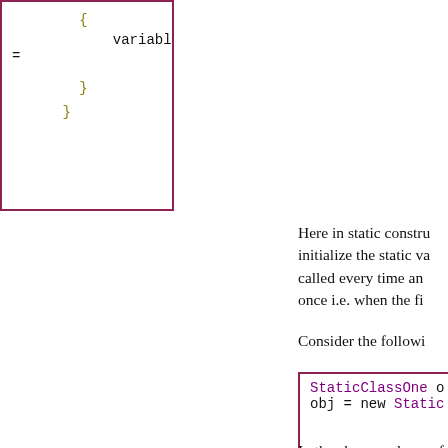[Figure (screenshot): Code snippet showing variableOne = ... closing braces of a static constructor block]
Here in static constructor we initialize the static variable. It is not called every time an object is created but once i.e. when the first object is created.
Consider the following example:
[Figure (screenshot): Code snippet showing StaticClassOne obj = new StaticC...]
In the above code note that we make object of the class twice but the static constructor is called once. But the object constructor is called.